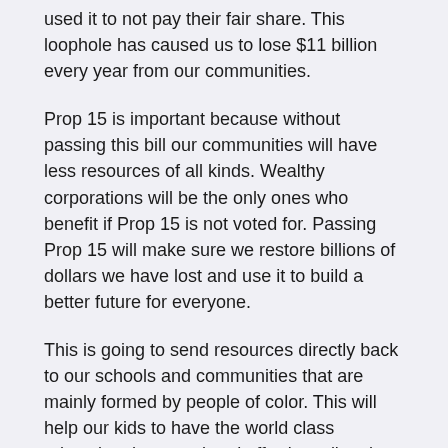used it to not pay their fair share. This loophole has caused us to lose $11 billion every year from our communities.
Prop 15 is important because without passing this bill our communities will have less resources of all kinds. Wealthy corporations will be the only ones who benefit if Prop 15 is not voted for. Passing Prop 15 will make sure we restore billions of dollars we have lost and use it to build a better future for everyone.
This is going to send resources directly back to our schools and communities that are mainly formed by people of color. This will help our kids to have the world class education they need and afford smaller class sizes and mental health resources.
“I support Prop 15 because our students deserve the best education and support possible” said Mr. Mendoza, a math teacher at Animo Pat Brown. He acknowledges that corporations have taken advantage of the tax loopholes and is aware that by passing Prop 15 more mental health resources will be provided to